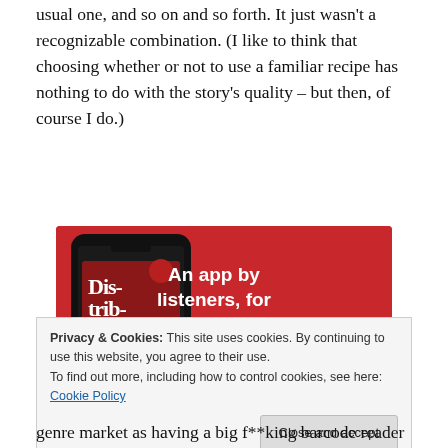usual one, and so on and so forth. It just wasn't a recognizable combination. (I like to think that choosing whether or not to use a familiar recipe has nothing to do with the story's quality – but then, of course I do.)
[Figure (screenshot): Advertisement for a podcast app showing a smartphone with 'Dis-tri-bu-ted' podcast on screen, red background, text 'An app by listeners, for listeners.' with a 'Download now' button]
Privacy & Cookies: This site uses cookies. By continuing to use this website, you agree to their use.
To find out more, including how to control cookies, see here: Cookie Policy
genre market as having a big f**king barcode reader